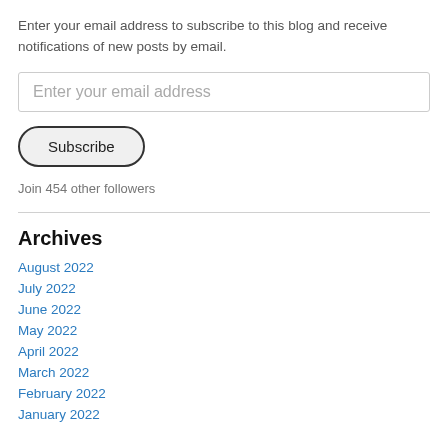Enter your email address to subscribe to this blog and receive notifications of new posts by email.
[Figure (other): Email address input field with placeholder text 'Enter your email address']
[Figure (other): Subscribe button with rounded pill shape and dark border]
Join 454 other followers
Archives
August 2022
July 2022
June 2022
May 2022
April 2022
March 2022
February 2022
January 2022